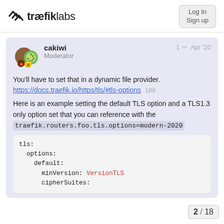traefiklabs
cakiwi
Moderator
1 Apr '20
You'll have to set that in a dynamic file provider.
https://docs.traefik.io/https/tls/#tls-options 189
Here is an example setting the default TLS option and a TLS1.3 only option set that you can reference with the traefik.routers.foo.tls.options=modern-2020
tls:
  options:
    default:
      minVersion: VersionTLS
      cipherSuites: